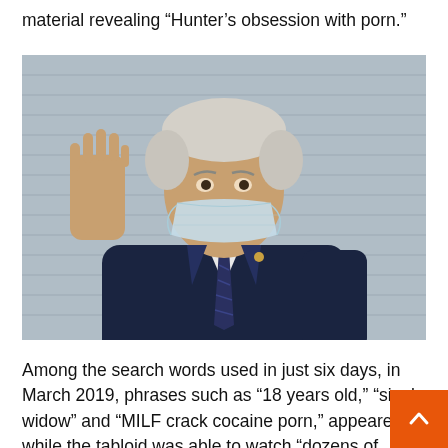material revealing “Hunter’s obsession with porn.”
[Figure (photo): Photo of an elderly man in a dark suit and striped tie, wearing a light blue surgical mask, raising his right hand in a wave gesture. Background appears to be a corrugated metal surface.]
Among the search words used in just six days, in March 2019, phrases such as “18 years old,” “single widow” and “MILF crack cocaine porn,” appeared, while the tabloid was able to watch “dozens of videos” “reveal a tendency Hunter for filming himself having sex with prostitutes and posting the videos on his